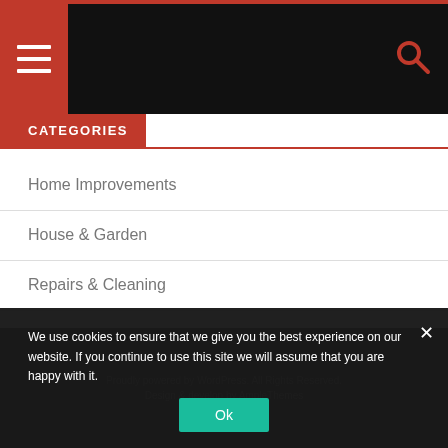CATEGORIES
Home Improvements
House & Garden
Repairs & Cleaning
Uncategorized
Proudly powered by WordPress. All Rights Reserved.
Design & develop by AmpleThemes
We use cookies to ensure that we give you the best experience on our website. If you continue to use this site we will assume that you are happy with it.